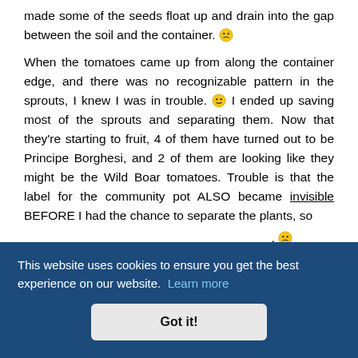made some of the seeds float up and drain into the gap between the soil and the container. 😑 When the tomatoes came up from along the container edge, and there was no recognizable pattern in the sprouts, I knew I was in trouble. 😵 I ended up saving most of the sprouts and separating them. Now that they're starting to fruit, 4 of them have turned out to be Principe Borghesi, and 2 of them are looking like they might be the Wild Boar tomatoes. Trouble is that the label for the community pot ALSO became invisible BEFORE I had the chance to separate the plants, so . 😑
This website uses cookies to ensure you get the best experience on our website. Learn more
Got it!
Fri, Jun 25, 2010 12:44 pm